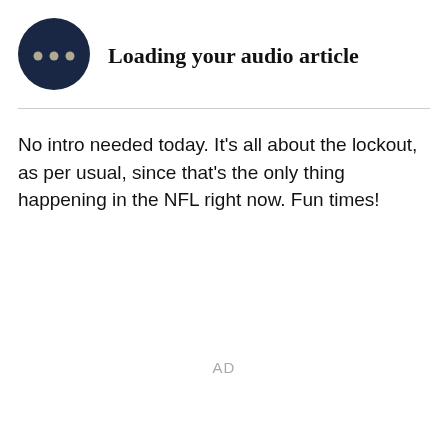[Figure (illustration): Dark navy blue circle icon with three horizontal dots (ellipsis) centered inside, representing an audio loading indicator.]
Loading your audio article
No intro needed today. It's all about the lockout, as per usual, since that's the only thing happening in the NFL right now. Fun times!
AD